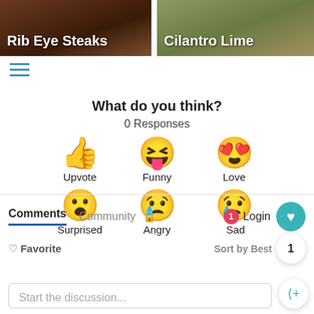[Figure (photo): Two food images side by side: Rib Eye Steaks (left) and Cilantro Lime (right)]
What do you think?
0 Responses
[Figure (infographic): Emoji reaction grid with 6 reactions: Upvote (thumbs up), Funny (laughing face), Love (heart eyes), Surprised (wide eyes), Angry (crying face), Sad (sad face with tear)]
Comments   Community   🔒   1   Login
♡ Favorite   Sort by Best
Start the discussion...